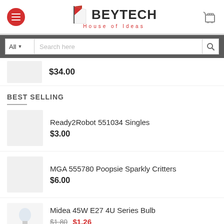[Figure (logo): Beytech House of Ideas logo with hamburger menu and cart icon]
[Figure (screenshot): Search bar with All dropdown and search field]
$34.00
BEST SELLING
Ready2Robot 551034 Singles
$3.00
MGA 555780 Poopsie Sparkly Critters
$6.00
Midea 45W E27 4U Series Bulb
$1.80  $1.26